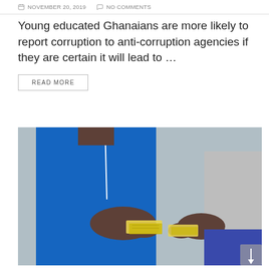NOVEMBER 20, 2019   NO COMMENTS
Young educated Ghanaians are more likely to report corruption to anti-corruption agencies if they are certain it will lead to …
READ MORE
[Figure (photo): Two people exchanging money — a person in a blue outfit handing banknotes to another person in a grey shirt, suggesting a bribery or corruption scene, against a grey background.]